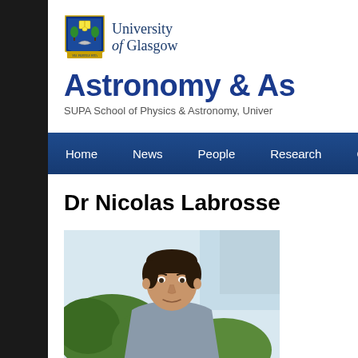[Figure (logo): University of Glasgow crest/shield logo in colour with Latin motto]
University of Glasgow
Astronomy & As
SUPA School of Physics & Astronomy, Univer
[Figure (screenshot): Navigation bar with menu items: Home, News, People, Research, Ob]
Dr Nicolas Labrosse
[Figure (photo): Photo of Dr Nicolas Labrosse, a man with dark hair shown from shoulders up, outdoors with trees in background]